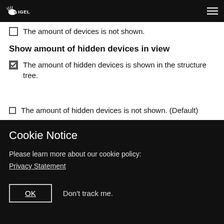IGEL
The amount of devices is not shown.
Show amount of hidden devices in view
The amount of hidden devices is shown in the structure tree.
The amount of hidden devices is not shown. (Default)
Cookie Notice
Please learn more about our cookie policy:
Privacy Statement
OK    Don't track me.